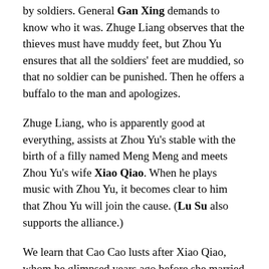by soldiers. General Gan Xing demands to know who it was. Zhuge Liang observes that the thieves must have muddy feet, but Zhou Yu ensures that all the soldiers' feet are muddied, so that no soldier can be punished. Then he offers a buffalo to the man and apologizes.
Zhuge Liang, who is apparently good at everything, assists at Zhou Yu's stable with the birth of a filly named Meng Meng and meets Zhou Yu's wife Xiao Qiao. When he plays music with Zhou Yu, it becomes clear to him that Zhou Yu will join the cause. (Lu Su also supports the alliance.)
We learn that Cao Cao lusts after Xiao Qiao, whom he glimpsed years ago before she married Zhou Yu. Problems with wind are foreshadowed.
Sun Quan and his sister Shang Xiang go on a tiger